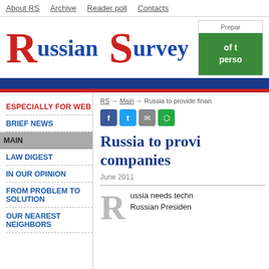About RS  Archive  Reader poll  Contacts
[Figure (logo): Russian Survey logo with large red R and S letters and blue 'ussian' and 'urvey' text]
[Figure (illustration): Advertisement box with text 'Prepar' and green panel with 'of t perso']
ESPECIALLY FOR WEB
BRIEF NEWS
MAIN
LAW DIGEST
IN OUR OPINION
FROM PROBLEM TO SOLUTION
OUR NEAREST NEIGHBORS
RS → Main → Russia to provide finan
Russia to provide... companies
June 2011
Russia needs techn... Russian Presiden